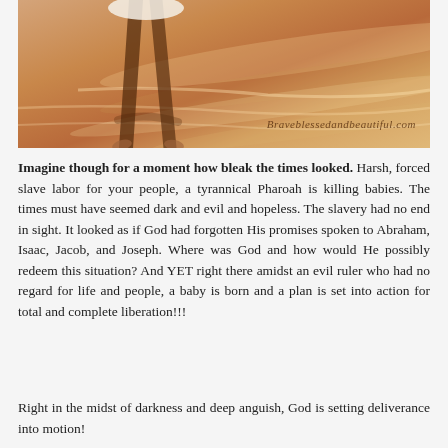[Figure (photo): A person walking barefoot on a wet sandy beach at sunset/golden hour. The figure is seen from the knees down, wearing a white dress/skirt. The scene has warm orange and amber tones. A watermark reading 'Braveblessedandbeautiful.com' is visible in cursive script in the lower right.]
Imagine though for a moment how bleak the times looked. Harsh, forced slave labor for your people, a tyrannical Pharoah is killing babies. The times must have seemed dark and evil and hopeless. The slavery had no end in sight. It looked as if God had forgotten His promises spoken to Abraham, Isaac, Jacob, and Joseph. Where was God and how would He possibly redeem this situation? And YET right there amidst an evil ruler who had no regard for life and people, a baby is born and a plan is set into action for total and complete liberation!!!
Right in the midst of darkness and deep anguish, God is setting deliverance into motion!